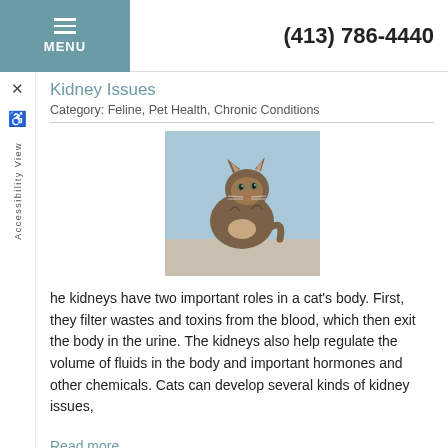(413) 786-4440
Kidney Issues
Category: Feline, Pet Health, Chronic Conditions
[Figure (photo): A tabby cat sitting and looking forward against a light blue background]
he kidneys have two important roles in a cat's body. First, they filter wastes and toxins from the blood, which then exit the body in the urine. The kidneys also help regulate the volume of fluids in the body and important hormones and other chemicals. Cats can develop several kinds of kidney issues,
Read more
Liver
Category: Feline, Pet Health, Chronic Conditions